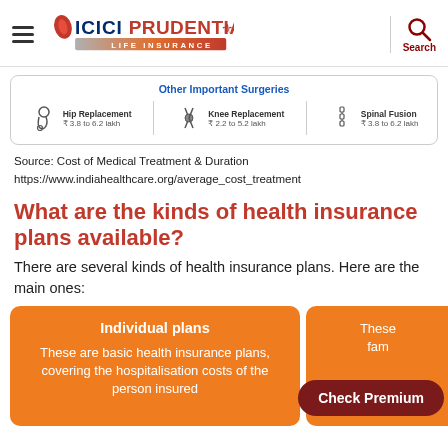[Figure (logo): ICICI Prudential Life Insurance logo with hamburger menu and search icon]
[Figure (infographic): Other Important Surgeries info card showing Hip Replacement ₹3.8 to 6.2 lakh, Knee Replacement ₹2.2 to 5.2 lakh, Spinal Fusion ₹3.8 to 6.2 lakh]
Source: Cost of Medical Treatment & Duration
https://www.indiahealthcare.org/average_cost_treatment
What are the kinds of health insurance plans available?
There are several kinds of health insurance plans. Here are the main ones:
Individual plans
These are basic health insurance plans, covering the hospitalisation costs of the person insured
Check Premium